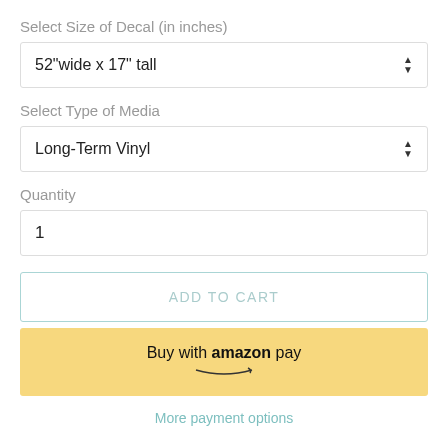Select Size of Decal (in inches)
52"wide x 17" tall
Select Type of Media
Long-Term Vinyl
Quantity
1
ADD TO CART
Buy with amazon pay
More payment options